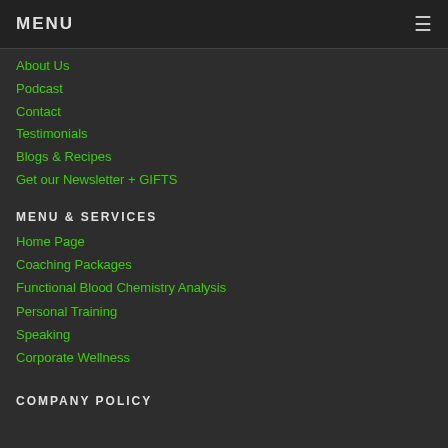MENU
About Us
Podcast
Contact
Testimonials
Blogs & Recipes
Get our Newsletter + GIFTS
MENU & SERVICES
Home Page
Coaching Packages
Functional Blood Chemistry Analysis
Personal Training
Speaking
Corporate Wellness
COMPANY POLICY